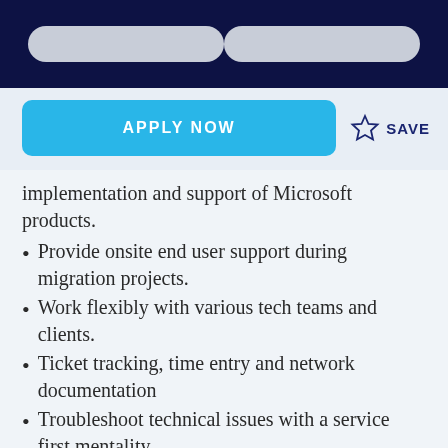[Navigation header with two pill-shaped elements]
APPLY NOW | SAVE
implementation and support of Microsoft products.
Provide onsite end user support during migration projects.
Work flexibly with various tech teams and clients.
Ticket tracking, time entry and network documentation
Troubleshoot technical issues with a service first mentality.
Problem solve creatively and bring your own solutions to the table.
Comfort in a fast-paced and constantly